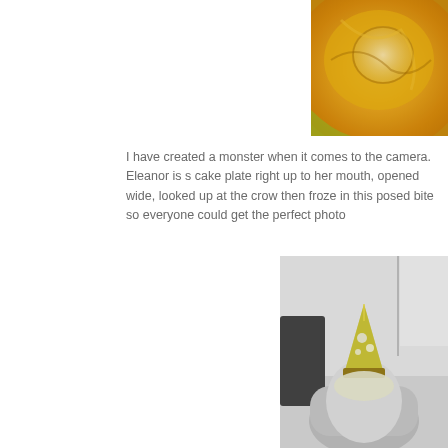[Figure (photo): Close-up photo of a yellow/golden colored cake plate or dish, with swirling colors of orange-yellow tones, a clear circular indentation visible in the center, shot from above.]
I have created a monster when it comes to the camera.  Eleanor is s cake plate right up to her mouth, opened wide, looked up at the crow then froze in this posed bite so everyone could get the perfect photo
[Figure (photo): Black and white photo of a young child seen from behind, wearing a birthday party hat, sitting in what appears to a chair or high chair.]